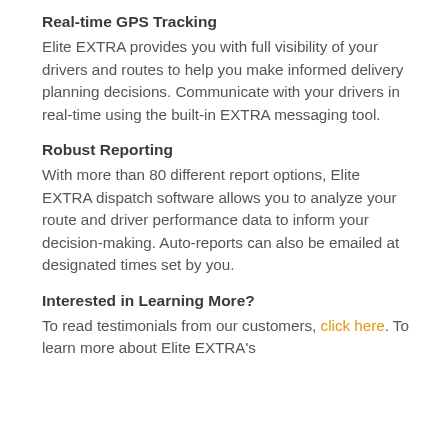Real-time GPS Tracking
Elite EXTRA provides you with full visibility of your drivers and routes to help you make informed delivery planning decisions. Communicate with your drivers in real-time using the built-in EXTRA messaging tool.
Robust Reporting
With more than 80 different report options, Elite EXTRA dispatch software allows you to analyze your route and driver performance data to inform your decision-making. Auto-reports can also be emailed at designated times set by you.
Interested in Learning More?
To read testimonials from our customers, click here. To learn more about Elite EXTRA's